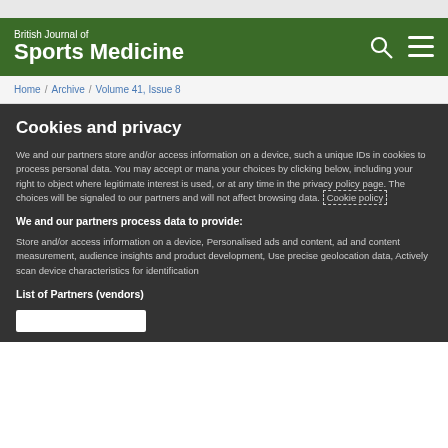British Journal of Sports Medicine
Home / Archive / Volume 41, Issue 8
Cookies and privacy
We and our partners store and/or access information on a device, such as unique IDs in cookies to process personal data. You may accept or manage your choices by clicking below, including your right to object where legitimate interest is used, or at any time in the privacy policy page. These choices will be signaled to our partners and will not affect browsing data. Cookie policy
We and our partners process data to provide:
Store and/or access information on a device, Personalised ads and content, ad and content measurement, audience insights and product development, Use precise geolocation data, Actively scan device characteristics for identification
List of Partners (vendors)